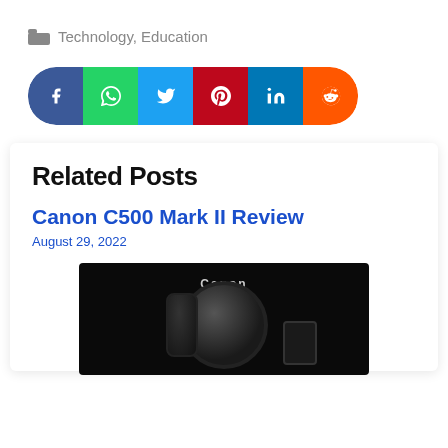Technology, Education
[Figure (infographic): Social sharing buttons: Facebook, WhatsApp, Twitter, Pinterest, LinkedIn, Reddit]
Related Posts
Canon C500 Mark II Review
August 29, 2022
[Figure (photo): Canon DSLR camera on dark background]